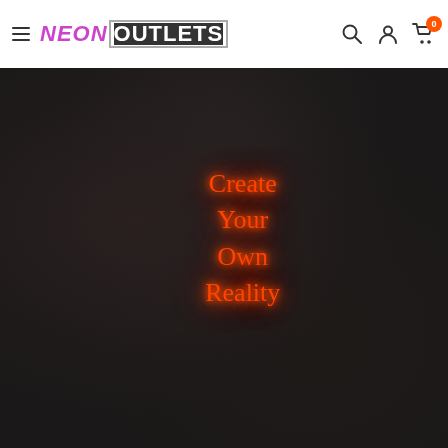NeonOutlets — navigation header with logo, search, account, and cart icons
[Figure (photo): Dark textured concrete background with an orange neon sign reading 'Create Your Own Reality' in cursive script, glowing against the dark surface. The neon text is arranged in four lines: Create / Your / Own / Reality.]